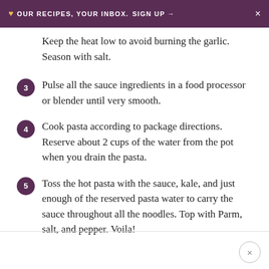♥ OUR RECIPES, YOUR INBOX. SIGN UP → ×
Keep the heat low to avoid burning the garlic. Season with salt.
3 Pulse all the sauce ingredients in a food processor or blender until very smooth.
4 Cook pasta according to package directions. Reserve about 2 cups of the water from the pot when you drain the pasta.
5 Toss the hot pasta with the sauce, kale, and just enough of the reserved pasta water to carry the sauce throughout all the noodles. Top with Parm, salt, and pepper. Voila!